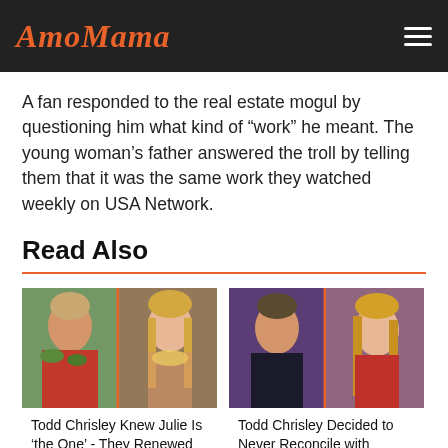AmoMama
A fan responded to the real estate mogul by questioning him what kind of “work” he meant. The young woman’s father answered the troll by telling them that it was the same work they watched weekly on USA Network.
Read Also
[Figure (photo): Two side-by-side photos of Todd Chrisley and a young blonde woman wearing leis in a tropical setting]
Todd Chrisley Knew Julie Is ‘the One’ - They Renewed
[Figure (photo): Two side-by-side photos of Todd Chrisley and a blonde woman at what appears to be a media event, purple and red background]
Todd Chrisley Decided to Never Reconcile with